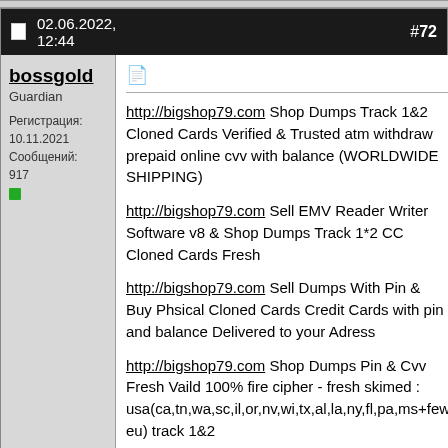02.06.2022, 12:44  #72
bossgold
Guardian
Регистрация: 10.11.2021
Сообщений: 917
http://bigshop79.com Shop Dumps Track 1&2 Cloned Cards Verified & Trusted atm withdraw prepaid online cvv with balance (WORLDWIDE SHIPPING)
http://bigshop79.com Sell EMV Reader Writer Software v8 & Shop Dumps Track 1*2 CC Cloned Cards Fresh
http://bigshop79.com Sell Dumps With Pin & Buy Phsical Cloned Cards Credit Cards with pin and balance Delivered to your Adress
http://bigshop79.com Shop Dumps Pin & Cvv Fresh Vaild 100% fire cipher - fresh skimed : usa(ca,tn,wa,sc,il,or,nv,wi,tx,al,la,ny,fl,pa,ms+few eu) track 1&2
http://bigshop79.com Sell Cvv Fullz Credit Cards Dumps ATM Track 1/2 Pin + Bank Logins + Acc PayPal Buy Valid Cvv CC Dumps SSN DOB Track-1/2-FULLZ
http://bigshop79.com Shop Dumps Track 1&2